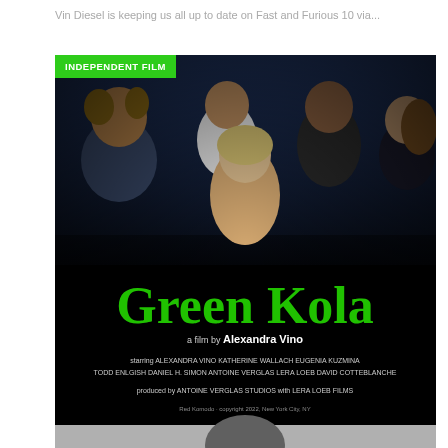Vin Diesel is keeping us all up to date on Fast and Furious 10 via...
[Figure (photo): Movie poster for 'Green Kola', an independent film directed by Alexandra Vino. Shows a group of people against a blue-lit background, with large green text reading 'Green Kola' over a dark lower half. Includes cast and crew credits and Red Komodo copyright 2022, New York City, NY. A green badge in the top-left reads 'INDEPENDENT FILM'.]
INDEPENDENT FILM
Green Kola
a film by Alexandra Vino
starring ALEXANDRA VINO  KATHERINE WALLACH  EUGENIA KUZMINA  TODD ENLGISH  DANIEL H. SIMON  ANTOINE VERGLAS  LERA LOEB  DAVID COTTEBLANCHE
produced by ANTOINE VERGLAS STUDIOS with LERA LOEB FILMS
Red Komodo · copyright 2022, New York City, NY